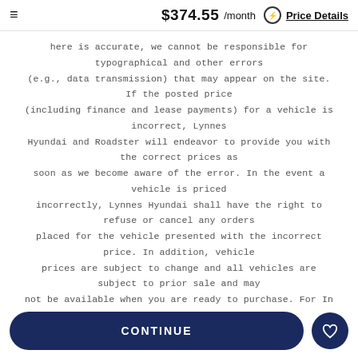≡   $374.55 /month ⊙ Price Details
here is accurate, we cannot be responsible for typographical and other errors (e.g., data transmission) that may appear on the site. If the posted price (including finance and lease payments) for a vehicle is incorrect, Lynnes Hyundai and Roadster will endeavor to provide you with the correct prices as soon as we become aware of the error. In the event a vehicle is priced incorrectly, Lynnes Hyundai shall have the right to refuse or cancel any orders placed for the vehicle presented with the incorrect price. In addition, vehicle prices are subject to change and all vehicles are subject to prior sale and may not be available when you are ready to purchase. For In Transit Inventory, any date of arrival is estimated. The actual date of delivery may vary due to circumstances beyond Hyundai and the dealer's control. Please contact your local Hyundai dealer for availability details.